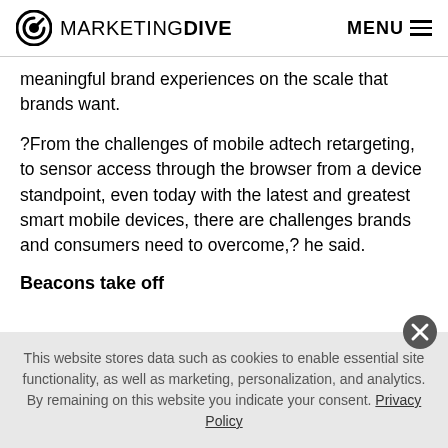MARKETING DIVE  MENU
meaningful brand experiences on the scale that brands want.
?From the challenges of mobile adtech retargeting, to sensor access through the browser from a device standpoint, even today with the latest and greatest smart mobile devices, there are challenges brands and consumers need to overcome,? he said.
Beacons take off
This website stores data such as cookies to enable essential site functionality, as well as marketing, personalization, and analytics. By remaining on this website you indicate your consent. Privacy Policy